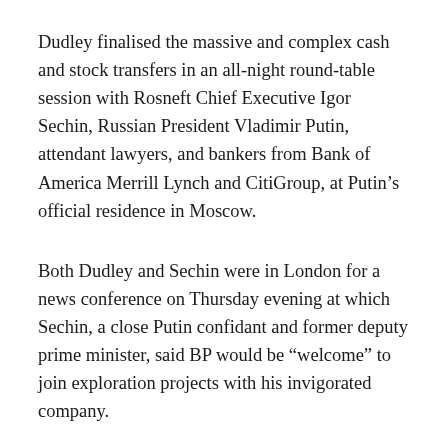Dudley finalised the massive and complex cash and stock transfers in an all-night round-table session with Rosneft Chief Executive Igor Sechin, Russian President Vladimir Putin, attendant lawyers, and bankers from Bank of America Merrill Lynch and CitiGroup, at Putin’s official residence in Moscow.
Both Dudley and Sechin were in London for a news conference on Thursday evening at which Sechin, a close Putin confidant and former deputy prime minister, said BP would be “welcome” to join exploration projects with his invigorated company.
“The pot is so enormous that we would welcome BP at